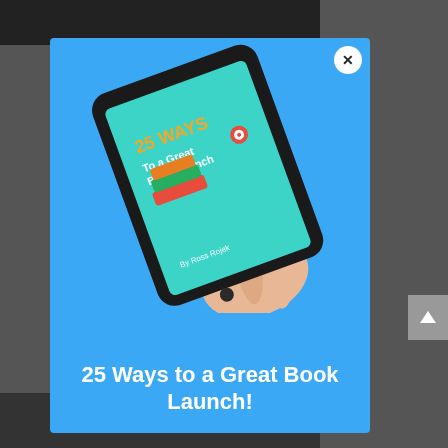[Figure (screenshot): A modal/popup overlay on a dark website background showing a hand holding a tablet/Kindle device displaying the ebook '25 Ways to a Great Book Launch' by Ross Rojek, with a teal ebook cover showing stacked colorful books with small figures of people. There is a white circular X close button in the top right of the modal. Below the tablet image is white bold text reading '25 Ways to a Great Book Launch!'. The modal has a bright blue background.]
25 Ways to a Great Book Launch!